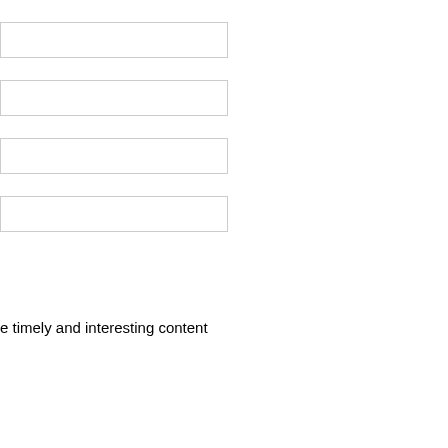[Figure (other): Four empty input/text box outlines arranged vertically on the left side of the page]
e timely and interesting content